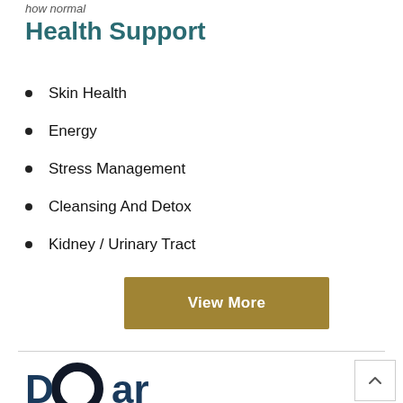how normal
Health Support
Skin Health
Energy
Stress Management
Cleansing And Detox
Kidney / Urinary Tract
View More
[Figure (logo): Circular logo mark partially overlapping large bold text 'D[logo]ar' in dark navy blue]
[Figure (other): Back to top chevron button, white with border, upper-right area]